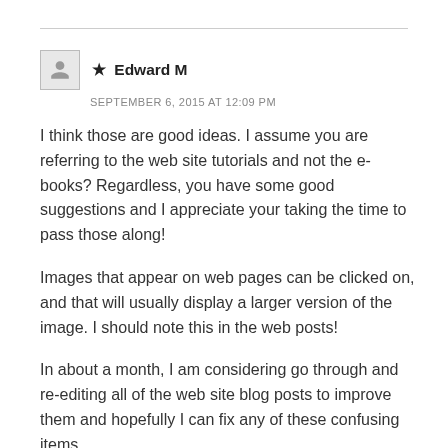★ Edward M
SEPTEMBER 6, 2015 AT 12:09 PM
I think those are good ideas. I assume you are referring to the web site tutorials and not the e-books? Regardless, you have some good suggestions and I appreciate your taking the time to pass those along!
Images that appear on web pages can be clicked on, and that will usually display a larger version of the image. I should note this in the web posts!
In about a month, I am considering go through and re-editing all of the web site blog posts to improve them and hopefully I can fix any of these confusing items.
Regarding ebook content, my preference is to label